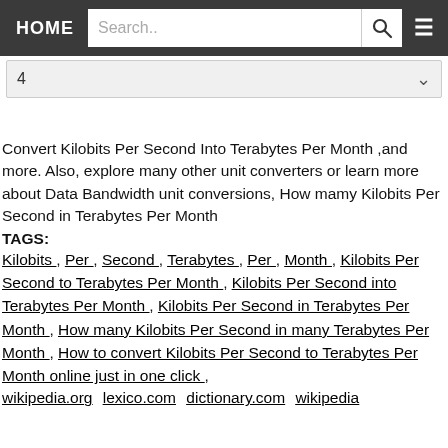HOME  Search..  [search button] [menu button]
4
Convert Kilobits Per Second Into Terabytes Per Month ,and more. Also, explore many other unit converters or learn more about Data Bandwidth unit conversions, How mamy Kilobits Per Second in Terabytes Per Month
TAGS:
Kilobits , Per , Second , Terabytes , Per , Month , Kilobits Per Second to Terabytes Per Month , Kilobits Per Second into Terabytes Per Month , Kilobits Per Second in Terabytes Per Month , How many Kilobits Per Second in many Terabytes Per Month , How to convert Kilobits Per Second to Terabytes Per Month online just in one click ,
wikipedia.org lexico.com dictionary.com wikipedia